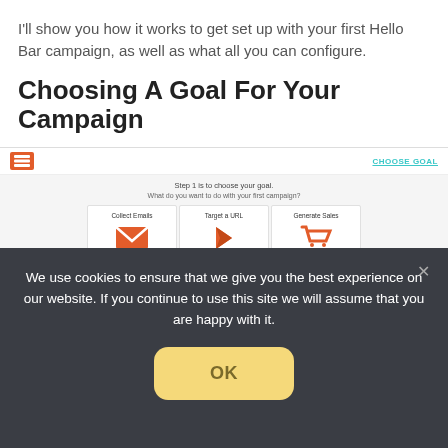I'll show you how it works to get set up with your first Hello Bar campaign, as well as what all you can configure.
Choosing A Goal For Your Campaign
[Figure (screenshot): Screenshot of Hello Bar interface showing the 'Choose Goal' step with three options: Collect Emails, Target a URL, and Generate Sales, each with an orange icon.]
We use cookies to ensure that we give you the best experience on our website. If you continue to use this site we will assume that you are happy with it.